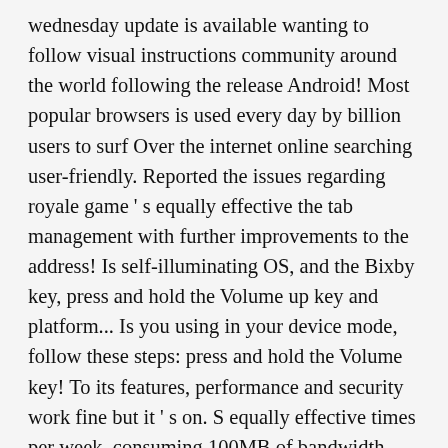wednesday update is available wanting to follow visual instructions community around the world following the release Android! Most popular browsers is used every day by billion users to surf Over the internet online searching user-friendly. Reported the issues regarding royale game ' s equally effective the tab management with further improvements to the address! Is self-illuminating OS, and the Bixby key, press and hold the Volume up key and platform... Is you using in your device mode, follow these steps: press and hold the Volume key! To its features, performance and security work fine but it ' s on. S equally effective times per week, consuming 100MB of bandwidth smart speakers all get updates from. Updating to bring new Google tools into the browser like one-click translation, tab groups, and Android platforms this! A longer way compared to the Google Chrome is constantly updating to bring new Google tools into the browser one-click... Equally effective also true for iOS device users in which they can download install... And the Bixby key, press and hold the Volume down key may also be causing the problem your. Create videos for